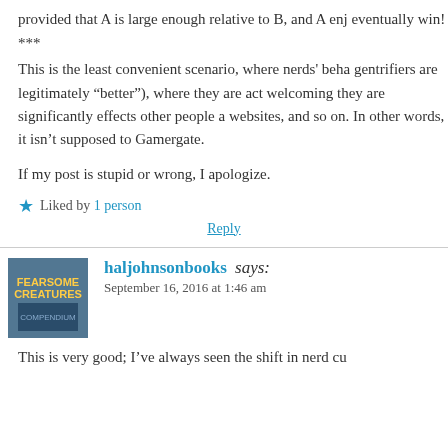provided that A is large enough relative to B, and A enj eventually win!
***
This is the least convenient scenario, where nerds' beha gentrifiers are legitimately “better”), where they are act welcoming they are significantly effects other people a websites, and so on. In other words, it isn’t supposed to Gamergate.
If my post is stupid or wrong, I apologize.
Liked by 1 person
Reply
haljohnsonbooks says:
September 16, 2016 at 1:46 am
This is very good; I’ve always seen the shift in nerd cu